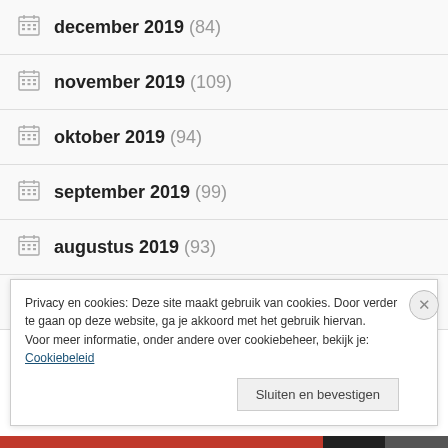december 2019 (84)
november 2019 (109)
oktober 2019 (94)
september 2019 (99)
augustus 2019 (93)
juli 2019 (94)
Privacy en cookies: Deze site maakt gebruik van cookies. Door verder te gaan op deze website, ga je akkoord met het gebruik hiervan. Voor meer informatie, onder andere over cookiebeheer, bekijk je: Cookiebeleid
Sluiten en bevestigen